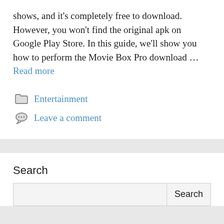shows, and it's completely free to download. However, you won't find the original apk on Google Play Store. In this guide, we'll show you how to perform the Movie Box Pro download … Read more
Entertainment
Leave a comment
Search